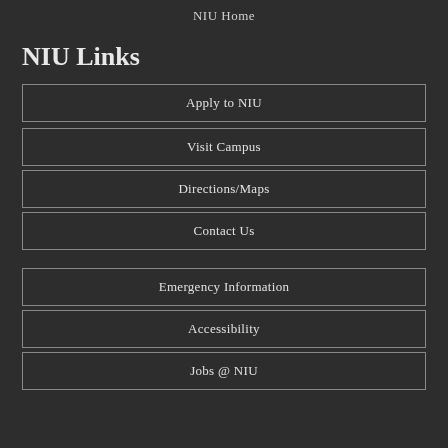NIU Home
NIU Links
Apply to NIU
Visit Campus
Directions/Maps
Contact Us
Emergency Information
Accessibility
Jobs @ NIU